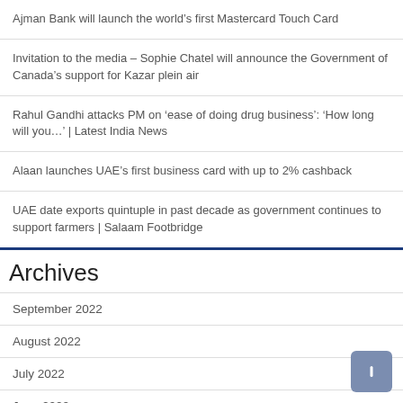Ajman Bank will launch the world's first Mastercard Touch Card
Invitation to the media – Sophie Chatel will announce the Government of Canada's support for Kazar plein air
Rahul Gandhi attacks PM on 'ease of doing drug business': 'How long will you…' | Latest India News
Alaan launches UAE's first business card with up to 2% cashback
UAE date exports quintuple in past decade as government continues to support farmers | Salaam Footbridge
Archives
September 2022
August 2022
July 2022
June 2022